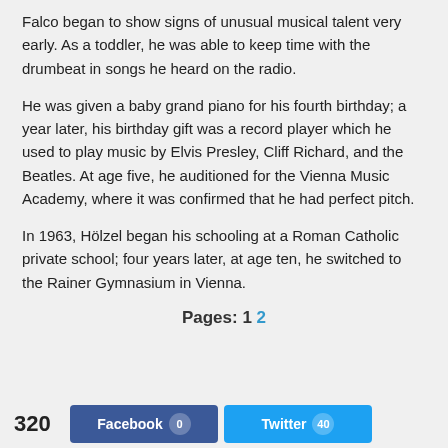Falco began to show signs of unusual musical talent very early. As a toddler, he was able to keep time with the drumbeat in songs he heard on the radio.
He was given a baby grand piano for his fourth birthday; a year later, his birthday gift was a record player which he used to play music by Elvis Presley, Cliff Richard, and the Beatles. At age five, he auditioned for the Vienna Music Academy, where it was confirmed that he had perfect pitch.
In 1963, Hölzel began his schooling at a Roman Catholic private school; four years later, at age ten, he switched to the Rainer Gymnasium in Vienna.
Pages: 1 2